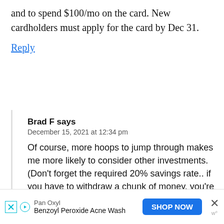and to spend $100/mo on the card. New cardholders must apply for the card by Dec 31.
Reply
Brad F says
December 15, 2021 at 12:34 pm
Of course, more hoops to jump through makes me more likely to consider other investments. (Don't forget the required 20% savings rate.. if you have to withdraw a chunk of money, you're essentially earning 0 for the quarter, and that extra credit card you're carrying isn't worth it.)
Reply
[Figure (infographic): Advertisement banner: PanOxyl Benzoyl Peroxide Acne Wash with SHOP NOW button and close X button]